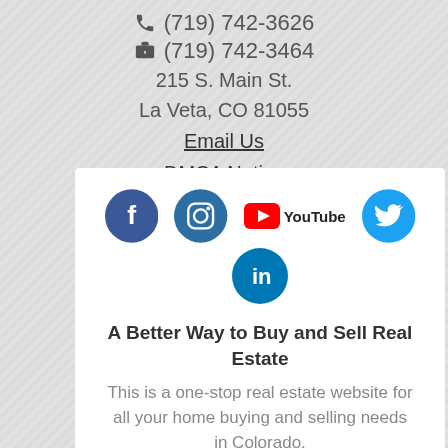(719) 742-3626
(719) 742-3464
215 S. Main St.
La Veta, CO 81055
Email Us
DMCA Notice
[Figure (logo): Social media icons: Facebook, Instagram, YouTube, Twitter, LinkedIn]
A Better Way to Buy and Sell Real Estate
This is a one-stop real estate website for all your home buying and selling needs in Colorado.